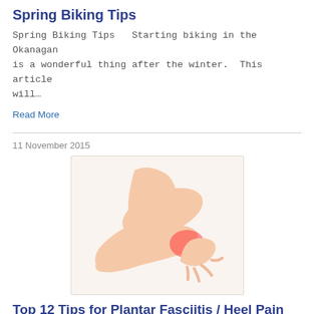Spring Biking Tips
Spring Biking Tips   Starting biking in the Okanagan is a wonderful thing after the winter.  This article will…
Read More
11 November 2015
[Figure (photo): A person's foot and hand showing a highlighted red area at the heel/arch, indicating plantar fasciitis or heel pain.]
Top 12 Tips for Plantar Fasciitis / Heel Pain
Top 12 Tips for Plantar Fasciitis / Heel Pain Heel pain is a common condition.  Pain in the arch of the foot, where…